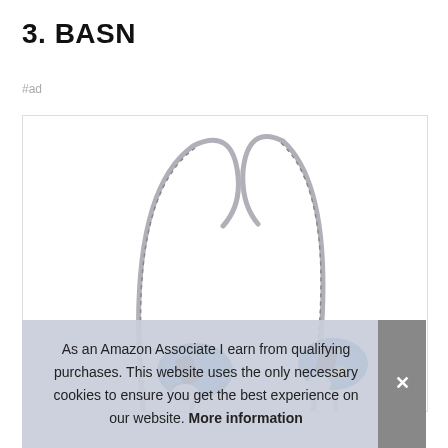3. BASN
#ad
[Figure (photo): BASN in-ear monitors (IEM) earphones with blue shells and silver braided cables, shown against a white background inside a bordered image box.]
As an Amazon Associate I earn from qualifying purchases. This website uses the only necessary cookies to ensure you get the best experience on our website. More information